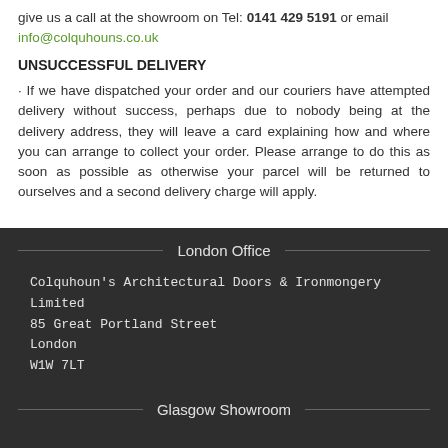give us a call at the showroom on Tel: 0141 429 5191 or email info@colquhouns.co.uk
UNSUCCESSFUL DELIVERY
· If we have dispatched your order and our couriers have attempted delivery without success, perhaps due to nobody being at the delivery address, they will leave a card explaining how and where you can arrange to collect your order. Please arrange to do this as soon as possible as otherwise your parcel will be returned to ourselves and a second delivery charge will apply.
London Office
Colquhoun's Architectural Doors & Ironmongery Limited
85 Great Portland Street
London
W1W 7LT
Glasgow Showroom